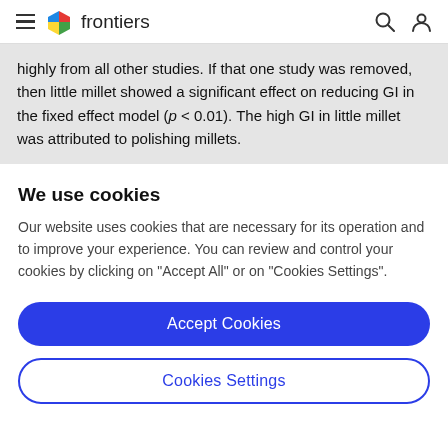frontiers
highly from all other studies. If that one study was removed, then little millet showed a significant effect on reducing GI in the fixed effect model (p < 0.01). The high GI in little millet was attributed to polishing millets.
We use cookies
Our website uses cookies that are necessary for its operation and to improve your experience. You can review and control your cookies by clicking on "Accept All" or on "Cookies Settings".
Accept Cookies
Cookies Settings